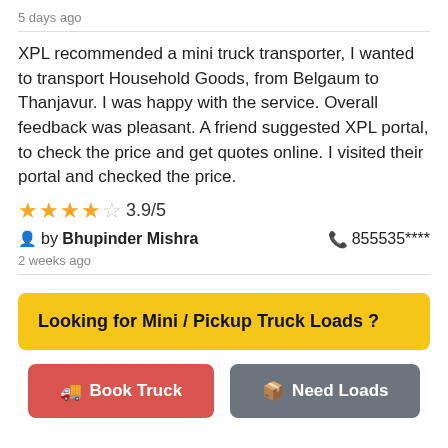5 days ago
XPL recommended a mini truck transporter, I wanted to transport Household Goods, from Belgaum to Thanjavur. I was happy with the service. Overall feedback was pleasant. A friend suggested XPL portal, to check the price and get quotes online. I visited their portal and checked the price.
★★★★☆ 3.9/5
by Bhupinder Mishra   855535****
2 weeks ago
Looking for Mini / Pickup Truck Loads ?
Book Truck
Need Loads